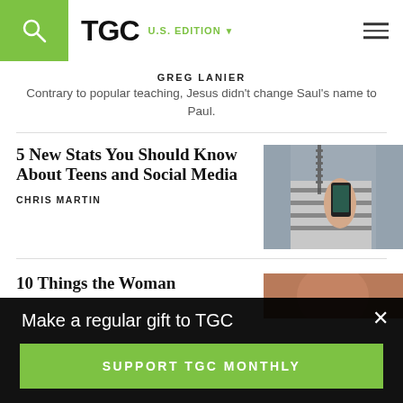TGC | U.S. EDITION
GREG LANIER
Contrary to popular teaching, Jesus didn't change Saul's name to Paul.
5 New Stats You Should Know About Teens and Social Media
CHRIS MARTIN
[Figure (photo): Person in striped shirt holding a smartphone]
10 Things the Woman
Make a regular gift to TGC
SUPPORT TGC MONTHLY